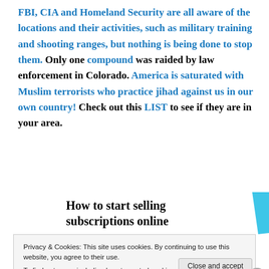FBI, CIA and Homeland Security are all aware of the locations and their activities, such as military training and shooting ranges, but nothing is being done to stop them. Only one compound was raided by law enforcement in Colorado. America is saturated with Muslim terrorists who practice jihad against us in our own country! Check out this LIST to see if they are in your area.
[Figure (other): Advertisement banner: 'How to start selling subscriptions online' with a light blue geometric shape on the right]
Privacy & Cookies: This site uses cookies. By continuing to use this website, you agree to their use.
To find out more, including how to control cookies, see here: Cookie Policy